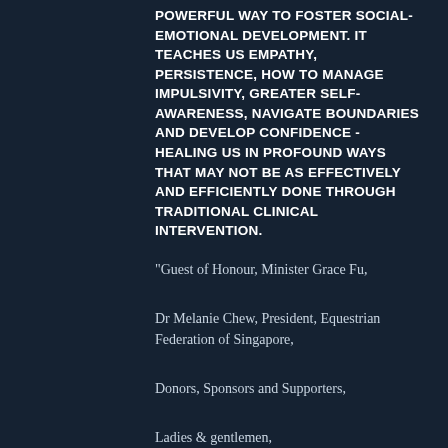POWERFUL WAY TO FOSTER SOCIAL-EMOTIONAL DEVELOPMENT. IT TEACHES US EMPATHY, PERSISTENCE, HOW TO MANAGE IMPULSIVITY, GREATER SELF-AWARENESS, NAVIGATE BOUNDARIES AND DEVELOP CONFIDENCE - HEALING US IN PROFOUND WAYS THAT MAY NOT BE AS EFFECTIVELY AND EFFICIENTLY DONE THROUGH TRADITIONAL CLINICAL INTERVENTION.
"Guest of Honour, Minister Grace Fu,
Dr Melanie Chew, President, Equestrian Federation of Singapore,
Donors, Sponsors and Supporters,
Ladies & gentlemen,